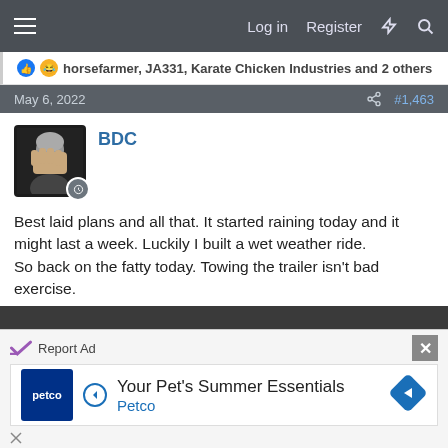Log in  Register
horsefarmer, JA331, Karate Chicken Industries and 2 others
May 6, 2022   #1,463
BDC
Best laid plans and all that. It started raining today and it might last a week. Luckily I built a wet weather ride.
So back on the fatty today. Towing the trailer isn't bad exercise.
[Figure (photo): A fat-tire bicycle parked at an outdoor covered area with concrete benches/tables, wet pavement, green vegetation in background.]
Report Ad   Your Pet's Summer Essentials  Petco